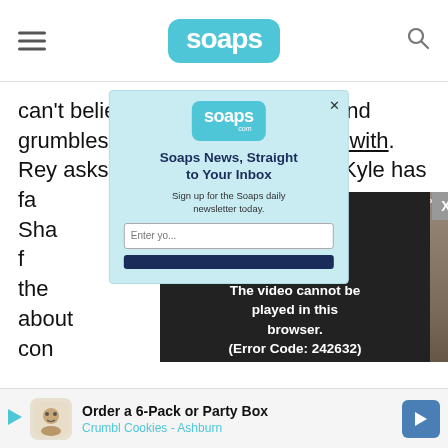soaps
can't believe he did that to Abby and grumbles she has enough to deal with. Rey asks what [modal covers] ntions Kyle has fa[modal covers] him off to meet Sha[modal covers] a asks how he's f[modal covers] t to put her in the [modal covers] he tells her about [modal covers] felt a con[modal covers] then it wa[modal covers] something he ne[modal covers] knew who he wa[modal covers]
[Figure (screenshot): Modal popup for Soaps.com newsletter signup with title 'Soaps News, Straight to Your Inbox', subtitle 'Sign up for the Soaps daily newsletter today.', email input field and subscribe button]
[Figure (screenshot): Video player overlay showing error message: 'The video cannot be played in this browser. (Error Code: 242632)' with a play arrow icon on dark background]
[Figure (screenshot): Ad banner: 'Order a 6-Pack or Party Box - Crumbl Cookies - Ashburn']